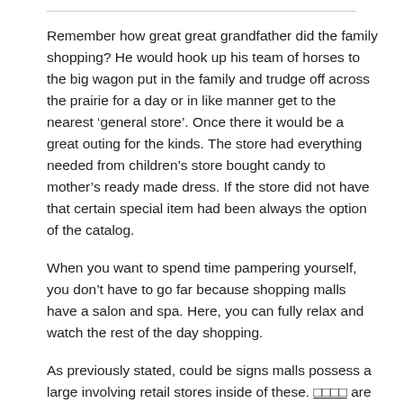Remember how great great grandfather did the family shopping? He would hook up his team of horses to the big wagon put in the family and trudge off across the prairie for a day or in like manner get to the nearest ‘general store’. Once there it would be a great outing for the kinds. The store had everything needed from children’s store bought candy to mother’s ready made dress. If the store did not have that certain special item had been always the option of the catalog.
When you want to spend time pampering yourself, you don’t have to go far because shopping malls have a salon and spa. Here, you can fully relax and watch the rest of the day shopping.
As previously stated, could be signs malls possess a large involving retail stores inside of these.      are just one of the many benefits to Christmas mall shopping. When doing your Shopping mall for clothes at a mall, you need to the capability to